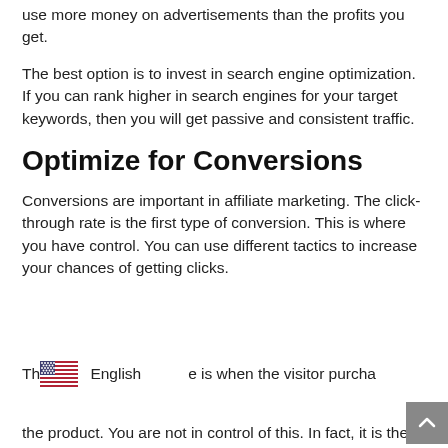use more money on advertisements than the profits you get.
The best option is to invest in search engine optimization. If you can rank higher in search engines for your target keywords, then you will get passive and consistent traffic.
Optimize for Conversions
Conversions are important in affiliate marketing. The click-through rate is the first type of conversion. This is where you have control. You can use different tactics to increase your chances of getting clicks.
Th[English flag] English  e is when the visitor purcha the product. You are not in control of this. In fact, it is the